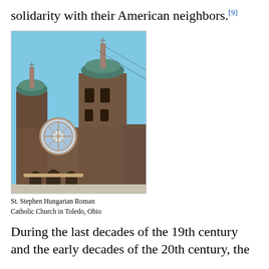solidarity with their American neighbors.[9]
[Figure (photo): Photograph of St. Stephen Hungarian Roman Catholic Church in Toledo, Ohio. A large dark-brown brick church with two green-domed towers and a large rose window on the facade.]
St. Stephen Hungarian Roman Catholic Church in Toledo, Ohio
During the last decades of the 19th century and the early decades of the 20th century, the